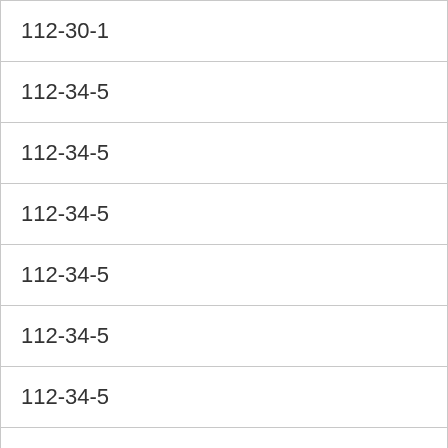| 112-30-1 |
| 112-34-5 |
| 112-34-5 |
| 112-34-5 |
| 112-34-5 |
| 112-34-5 |
| 112-34-5 |
| 112-34-5 |
| 112-34-5 |
| 112-34-5 |